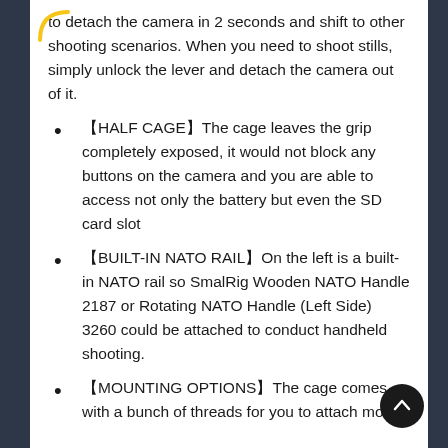to detach the camera in 2 seconds and shift to other shooting scenarios. When you need to shoot stills, simply unlock the lever and detach the camera out of it.
【HALF CAGE】The cage leaves the grip completely exposed, it would not block any buttons on the camera and you are able to access not only the battery but even the SD card slot
【BUILT-IN NATO RAIL】On the left is a built-in NATO rail so SmalRig Wooden NATO Handle 2187 or Rotating NATO Handle (Left Side) 3260 could be attached to conduct handheld shooting.
【MOUNTING OPTIONS】The cage comes with a bunch of threads for you to attach more